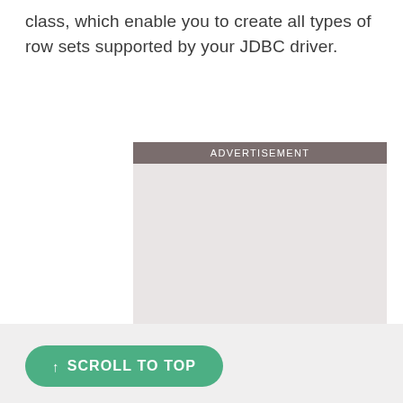class, which enable you to create all types of row sets supported by your JDBC driver.
[Figure (other): Advertisement placeholder box with dark gray header labeled ADVERTISEMENT and light gray body area]
↑ SCROLL TO TOP